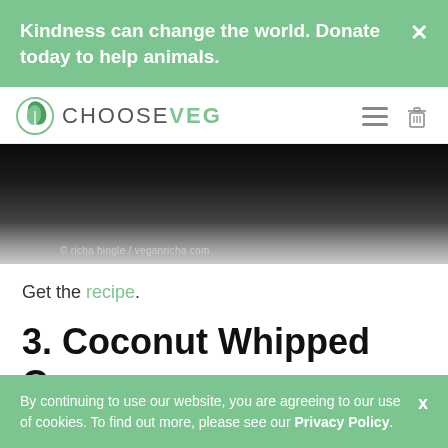Kindness can change the world. Donate today to help animals.
[Figure (logo): ChooseVeg website logo with green leaf icon and text CHOOSEVEG]
[Figure (photo): Dark food photo with copyright text: © richa hingle / veganricha.com]
Get the recipe.
3. Coconut Whipped Cream
By continuing to use our website, you are agreeing to our use of cookies. To find out more, please see our Privacy Policy.